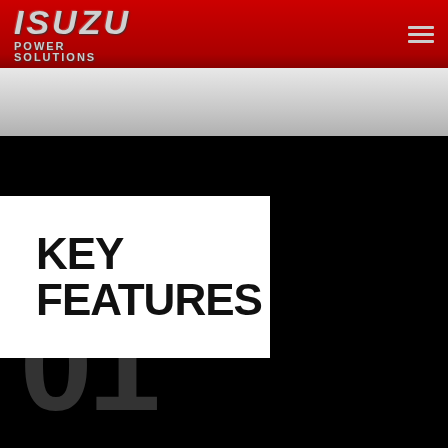ISUZU POWER SOLUTIONS
KEY FEATURES
01